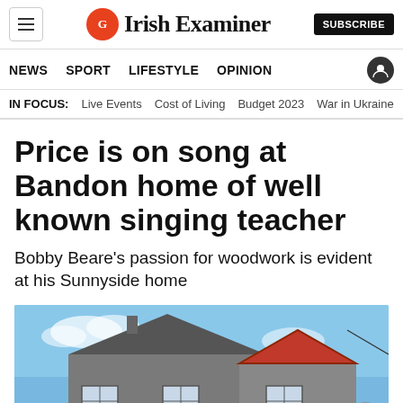Irish Examiner
NEWS  SPORT  LIFESTYLE  OPINION
IN FOCUS:  Live Events  Cost of Living  Budget 2023  War in Ukraine
Price is on song at Bandon home of well known singing teacher
Bobby Beare's passion for woodwork is evident at his Sunnyside home
[Figure (photo): Exterior photo of a two-storey house with grey walls and a red-painted gable peak, against a blue sky with light clouds.]